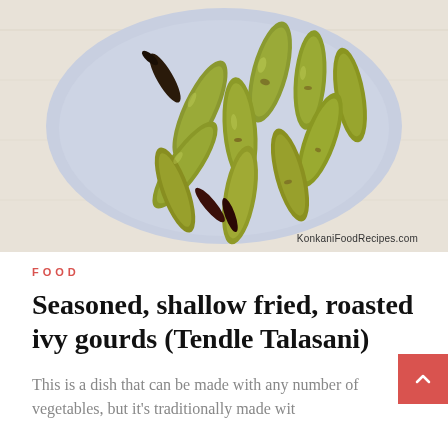[Figure (photo): A blue plate with seasoned, shallow fried, roasted ivy gourds (tendle/tindora), with a couple of dried red chilies. Plate sits on a light wooden surface. Watermark 'KonkaniFoodRecipes.com' at bottom right.]
FOOD
Seasoned, shallow fried, roasted ivy gourds (Tendle Talasani)
This is a dish that can be made with any number of vegetables, but it's traditionally made wit